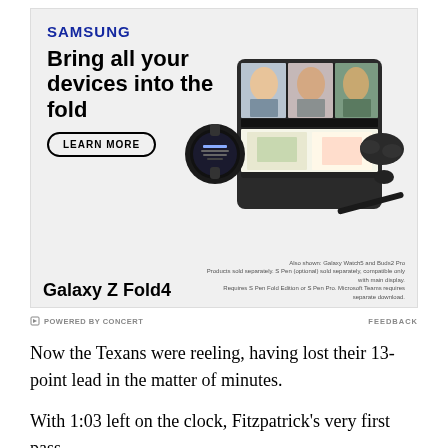[Figure (illustration): Samsung Galaxy Z Fold4 advertisement. Shows Samsung logo at top left, headline 'Bring all your devices into the fold', a 'LEARN MORE' button, and product images of Galaxy Z Fold4 phone open showing a video call, Galaxy Watch5 smartwatch, and Galaxy Buds2 Pro earbuds. Bottom shows product name 'Galaxy Z Fold4' and disclaimer text about products sold separately.]
POWERED BY CONCERT    FEEDBACK
Now the Texans were reeling, having lost their 13-point lead in the matter of minutes.
With 1:03 left on the clock, Fitzpatrick's very first pass